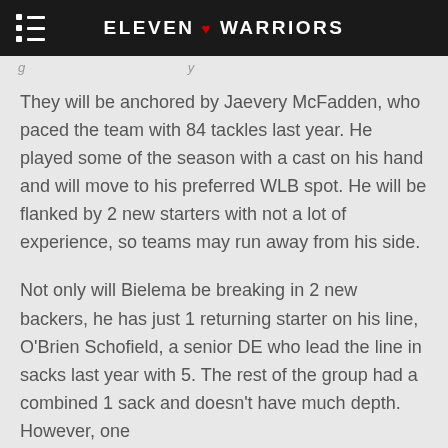ELEVEN ♥ WARRIORS
They will be anchored by Jaevery McFadden, who paced the team with 84 tackles last year. He played some of the season with a cast on his hand and will move to his preferred WLB spot. He will be flanked by 2 new starters with not a lot of experience, so teams may run away from his side.
Not only will Bielema be breaking in 2 new backers, he has just 1 returning starter on his line, O'Brien Schofield, a senior DE who lead the line in sacks last year with 5. The rest of the group had a combined 1 sack and doesn't have much depth. However, one